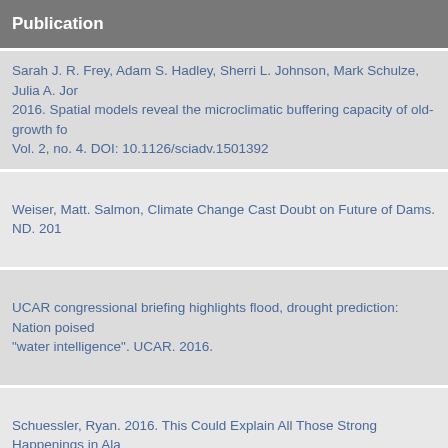Publication
Sarah J. R. Frey, Adam S. Hadley, Sherri L. Johnson, Mark Schulze, Julia A. Jones. 2016. Spatial models reveal the microclimatic buffering capacity of old-growth fo... Vol. 2, no. 4. DOI: 10.1126/sciadv.1501392
Weiser, Matt. Salmon, Climate Change Cast Doubt on Future of Dams. ND. 201...
UCAR congressional briefing highlights flood, drought prediction: Nation poised ... "water intelligence". UCAR. 2016.
Schuessler, Ryan. 2016. This Could Explain All Those Strong Happenings in Ala...